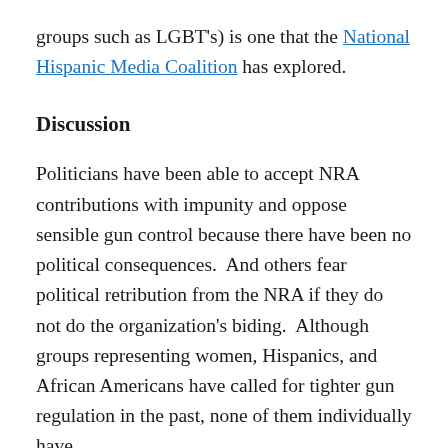groups such as LGBT's) is one that the National Hispanic Media Coalition has explored.
Discussion
Politicians have been able to accept NRA contributions with impunity and oppose sensible gun control because there have been no political consequences.  And others fear political retribution from the NRA if they do not do the organization's biding.  Although groups representing women, Hispanics, and African Americans have called for tighter gun regulation in the past, none of them individually have